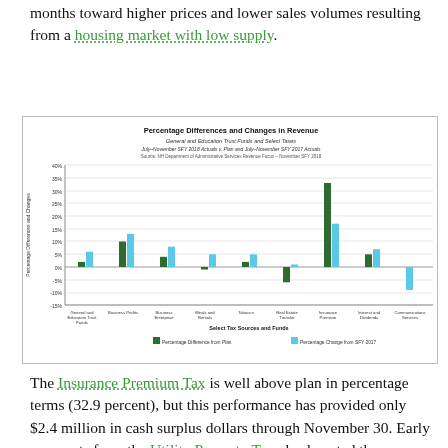months toward higher prices and lower sales volumes resulting from a housing market with low supply.
[Figure (grouped-bar-chart): Percentage Differences and Changes in Revenue]
The Insurance Premium Tax is well above plan in percentage terms (32.9 percent), but this performance has provided only $2.4 million in cash surplus dollars through November 30. Early payments from the Utility Property Tax also boosted the